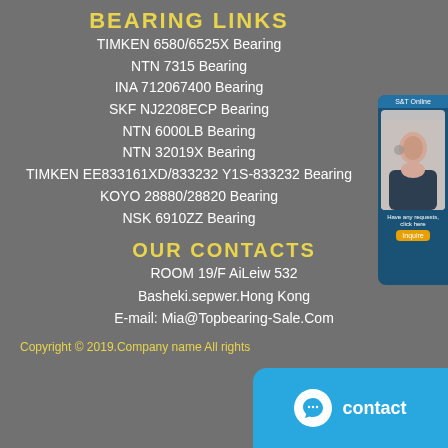BEARING LINKS
TIMKEN 6580/6525X Bearing
NTN 7315 Bearing
INA 712067400 Bearing
SKF NJ2208ECP Bearing
NTN 6000LB Bearing
NTN 32019X Bearing
TIMKEN EE833161XD/833232 Y1S-833232 Bearing
KOYO 28880/28820 Bearing
NSK 6910ZZ Bearing
OUR CONTACTS
ROOM 19/F AiLeiw 532
Basheki.sepwer.Hong Kong
E-mail: Mia@Topbearing-Sale.Com
Copyright © 2019.Company name All rights
[Figure (other): Customer service advisor widget on right side]
[Figure (other): Live chat contact button at bottom right]